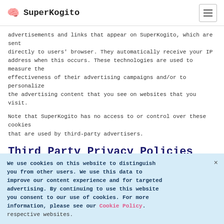SuperKogito
advertisements and links that appear on SuperKogito, which are sent directly to users' browser. They automatically receive your IP address when this occurs. These technologies are used to measure the effectiveness of their advertising campaigns and/or to personalize the advertising content that you see on websites that you visit.

Note that SuperKogito has no access to or control over these cookies that are used by third-party advertisers.
Third Party Privacy Policies
SuperKogito's Privacy Policy does not apply to other advertisers or websites. Thus, we are advising you to consult the respective Privacy Policies of these third-party ad servers for more detailed
We use cookies on this website to distinguish you from other users. We use this data to improve our content experience and for targeted advertising. By continuing to use this website you consent to our use of cookies. For more information, please see our Cookie Policy.
respective websites.